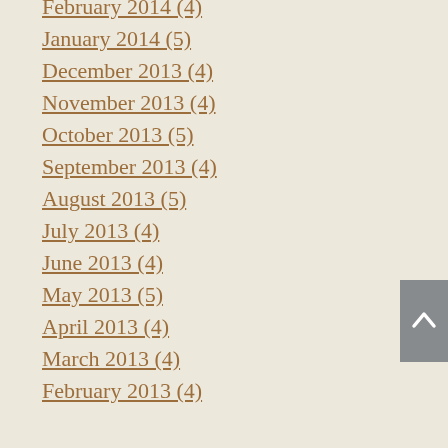February 2014 (4)
January 2014 (5)
December 2013 (4)
November 2013 (4)
October 2013 (5)
September 2013 (4)
August 2013 (5)
July 2013 (4)
June 2013 (4)
May 2013 (5)
April 2013 (4)
March 2013 (4)
February 2013 (4)